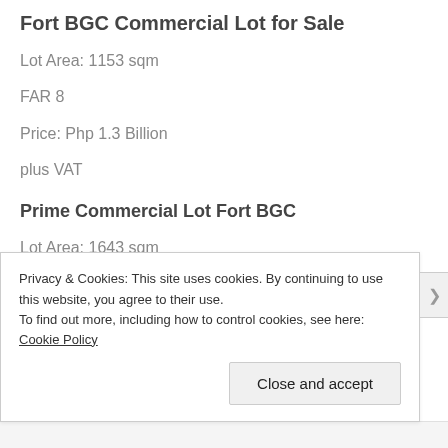Fort BGC Commercial Lot for Sale
Lot Area: 1153 sqm
FAR 8
Price: Php 1.3 Billion
plus VAT
Prime Commercial Lot Fort BGC
Lot Area: 1643 sqm
Privacy & Cookies: This site uses cookies. By continuing to use this website, you agree to their use.
To find out more, including how to control cookies, see here: Cookie Policy
Close and accept